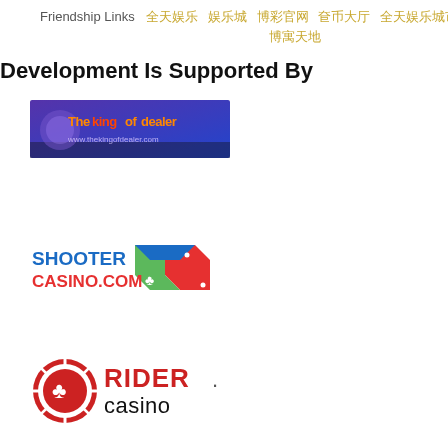Friendship Links [Chinese links]
Development Is Supported By
[Figure (logo): TheKingofdealer banner logo - purple/blue background with orange and red text]
[Figure (logo): SHOOTER CASINO.COM logo with colorful dice graphic]
[Figure (logo): RIDER casino logo with red poker chip and black/red text]